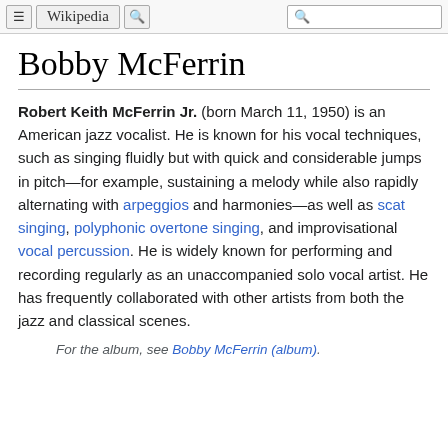Wikipedia
Bobby McFerrin
Robert Keith McFerrin Jr. (born March 11, 1950) is an American jazz vocalist. He is known for his vocal techniques, such as singing fluidly but with quick and considerable jumps in pitch—for example, sustaining a melody while also rapidly alternating with arpeggios and harmonies—as well as scat singing, polyphonic overtone singing, and improvisational vocal percussion. He is widely known for performing and recording regularly as an unaccompanied solo vocal artist. He has frequently collaborated with other artists from both the jazz and classical scenes.
For the album, see Bobby McFerrin (album).